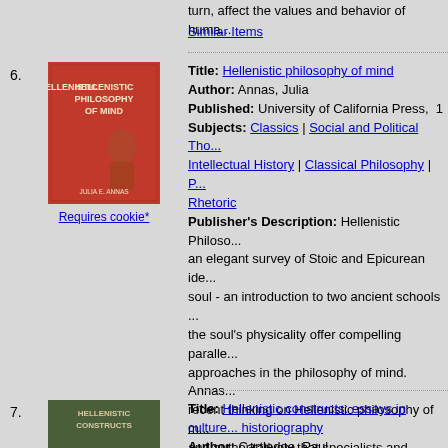turn, affect the values and behavior of huma...
Similar Items
6. Title: Hellenistic philosophy of mind | Author: Annas, Julia | Published: University of California Press, 1... | Subjects: Classics | Social and Political Tho... | Intellectual History | Classical Philosophy | P... | Rhetoric | Publisher's Description: Hellenistic Philoso... an elegant survey of Stoic and Epicurean ide... soul - an introduction to two ancient schools ... the soul's physicality offer compelling paralle... approaches in the philosophy of mind. Annas... recent thinking on Hellenistic philosophy of m... and authoritatively that specialists and nonsp... will find her book rewarding.In part, the Helle... a "scientific" period that broke with tradition i... an affinity with the modern shift from the seve... eighteenth centuries to the present day. Helle... philosophy of the soul, Annas argues, is in fa... of mind, especially in the treatment of such t... perception, thought, and action. [brief] Similar Items
[Figure (photo): Book cover: Hellenistic Philosophy of Mind by Julia E. Annas, red cover with ancient figure]
Requires cookie*
7. Title: Hellenistic constructs: essays in culture... historiography | Author: Cartledge, Paul